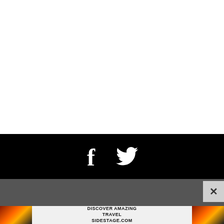[Figure (other): White blank area at top of page]
[Figure (other): Black footer bar with Facebook and Twitter social media icons in white]
[Figure (other): Gray bar below black footer, with a close (X) button on the right side]
[Figure (other): Advertisement banner at bottom: sunset/travel photos on left and right flanking text 'DISCOVER AMAZING TRAVEL SIDESTAGE.COM' in bold black on light background]